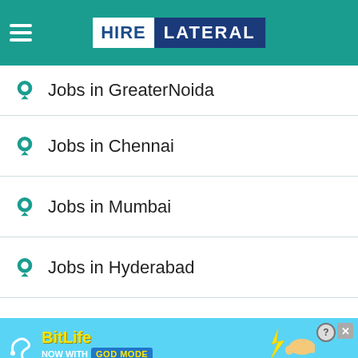HIRE LATERAL
Jobs in GreaterNoida
Jobs in Chennai
Jobs in Mumbai
Jobs in Hyderabad
Jobs in Bangalore
Jobs in Noida
[Figure (screenshot): BitLife advertisement banner with 'NOW WITH GOD MODE' text and pointing hand graphic]